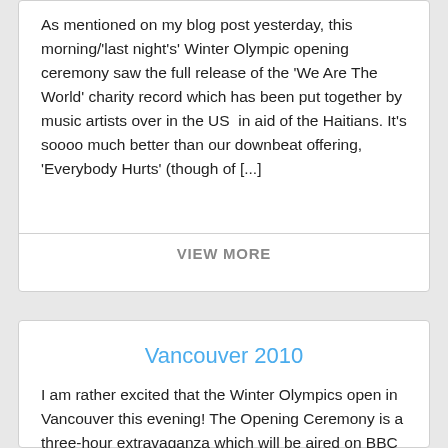As mentioned on my blog post yesterday, this morning/'last night's' Winter Olympic opening ceremony saw the full release of the 'We Are The World' charity record which has been put together by music artists over in the US in aid of the Haitians. It's soooo much better than our downbeat offering, 'Everybody Hurts' (though of [...]
VIEW MORE
Vancouver 2010
I am rather excited that the Winter Olympics open in Vancouver this evening! The Opening Ceremony is a three-hour extravaganza which will be aired on BBC Two at 01:45 GMT Saturday Morning. The Opening Ceremony will also